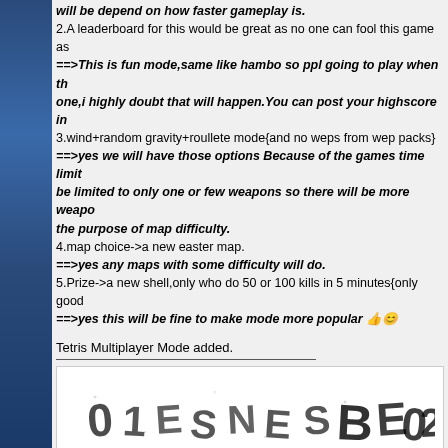will be depend on how faster gameplay is.
2.A leaderboard for this would be great as no one can fool this game as
==>This is fun mode,same like hambo so ppl going to play when th one,i highly doubt that will happen.You can post your highscore in
3.wind+random gravity+roullete mode{and no weps from wep packs}
==>yes we will have those options Because of the games time limit be limited to only one or few weapons so there will be more weapo the purpose of map difficulty.
4.map choice->a new easter map.
==>yes any maps with some difficulty will do.
5.Prize->a new shell,only who do 50 or 100 kills in 5 minutes{only good
==>yes this will be fine to make mode more popular 👍😊
Tetris Multiplayer Mode added.
[Figure (other): CAPTCHA image with scrambled letters and numbers: 01 E S N E S B E 02]
Special Weapons ,Mode->Dice Bombs,Launcher's & Map Designs*
FIND (button)